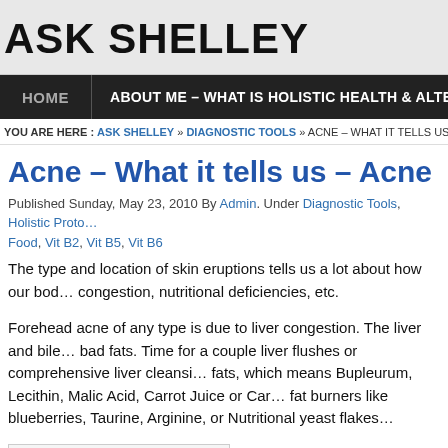ASK SHELLEY
HOME | ABOUT ME – WHAT IS HOLISTIC HEALTH & ALTERATIVE MEDICINE M…
YOU ARE HERE : ASK SHELLEY » DIAGNOSTIC TOOLS » ACNE – WHAT IT TELLS US – ACNE TREATME…
Acne – What it tells us – Acne Tre…
Published Sunday, May 23, 2010 By Admin. Under Diagnostic Tools, Holistic Proto…
Food, Vit B2, Vit B5, Vit B6
The type and location of skin eruptions tells us a lot about how our bod… congestion, nutritional deficiencies, etc.
Forehead acne of any type is due to liver congestion. The liver and bile… bad fats. Time for a couple liver flushes or comprehensive liver cleansi… fats, which means Bupleurum, Lecithin, Malic Acid, Carrot Juice or Car… fat burners like blueberries, Taurine, Arginine, or Nutritional yeast flakes…